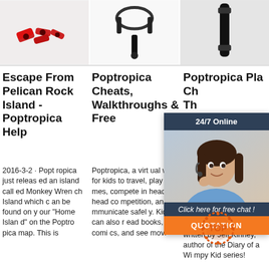[Figure (photo): Three thumbnail photos side by side: left shows red clips/pieces on white background, middle shows headphone jack on white surface, right shows a dark hair clip on light background]
Escape From Pelican Rock Island - Poptropica Help
2016-3-2 · Poptropica just released an island called Monkey Wrench Island which can be found on your “Home Island” on the Poptro pica map. This is
Poptropica Cheats, Walkthroughs & Free
Poptropica, a virtual world for kids to travel, play games, compete in head-to-head competition, and communicate safely. Kids can also read books, comics, and see movi
Poptropica Pla Ch Th“Es
Join aye ntu pica nbelievable quests, written by Jeff Kinney, author of the Diary of a Wimpy Kid series!
[Figure (screenshot): Chat widget overlay showing 24/7 Online support with female agent photo, 'Click here for free chat!' text, and QUOTATION button in orange]
[Figure (logo): TOP badge - orange/red dotted circular logo with text TOP]